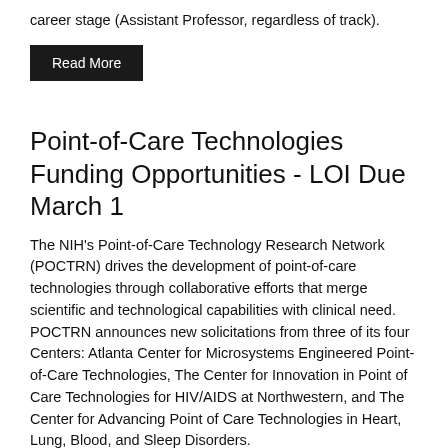career stage (Assistant Professor, regardless of track).
Read More
Point-of-Care Technologies Funding Opportunities - LOI Due March 1
The NIH's Point-of-Care Technology Research Network (POCTRN) drives the development of point-of-care technologies through collaborative efforts that merge scientific and technological capabilities with clinical need. POCTRN announces new solicitations from three of its four Centers: Atlanta Center for Microsystems Engineered Point-of-Care Technologies, The Center for Innovation in Point of Care Technologies for HIV/AIDS at Northwestern, and The Center for Advancing Point of Care Technologies in Heart, Lung, Blood, and Sleep Disorders.
Read More
Morningside Center for Incoming